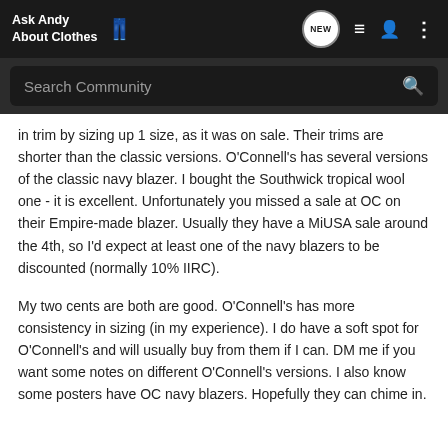Ask Andy About Clothes
in trim by sizing up 1 size, as it was on sale. Their trims are shorter than the classic versions. O'Connell's has several versions of the classic navy blazer. I bought the Southwick tropical wool one - it is excellent. Unfortunately you missed a sale at OC on their Empire-made blazer. Usually they have a MiUSA sale around the 4th, so I'd expect at least one of the navy blazers to be discounted (normally 10% IIRC).
My two cents are both are good. O'Connell's has more consistency in sizing (in my experience). I do have a soft spot for O'Connell's and will usually buy from them if I can. DM me if you want some notes on different O'Connell's versions. I also know some posters have OC navy blazers. Hopefully they can chime in.